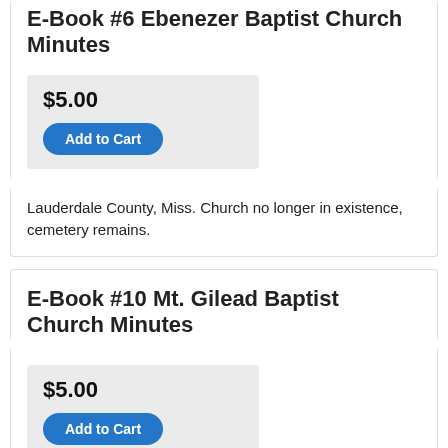E-Book #6 Ebenezer Baptist Church Minutes
$5.00
Add to Cart
Lauderdale County, Miss. Church no longer in existence, cemetery remains.
E-Book #10 Mt. Gilead Baptist Church Minutes
$5.00
Add to Cart